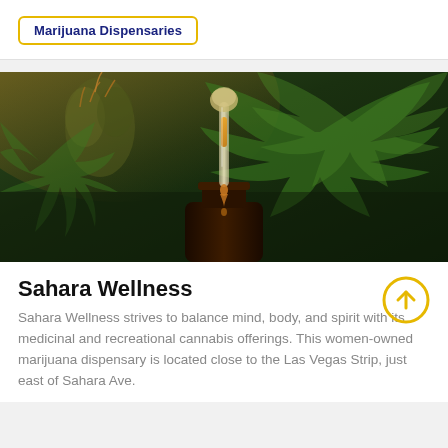Marijuana Dispensaries
[Figure (photo): Close-up photo of a dropper with amber oil dripping into a dark amber glass bottle, with cannabis plants in the background.]
Sahara Wellness
Sahara Wellness strives to balance mind, body, and spirit with its medicinal and recreational cannabis offerings. This women-owned marijuana dispensary is located close to the Las Vegas Strip, just east of Sahara Ave.